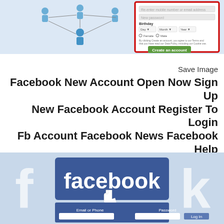[Figure (screenshot): Facebook registration page screenshot showing a form with fields for mobile number or email, new password, birthday dropdowns (Day, Month, Year), gender options (Female, Male), terms text, and a green 'Create an account' button highlighted with a red border. Left side shows a network/people illustration on light blue background.]
Save Image
Facebook New Account Open Now Sign Up New Facebook Account Register To Login Fb Account Facebook News Facebook Help Account Facebook
[Figure (screenshot): Facebook login page screenshot showing the Facebook logo in white on blue background with a cursor hand pointer, below it a login form with Email or Phone and Password fields and a Log In button, all on a light blue background.]